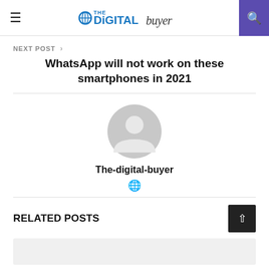The Digital Buyer — site header with hamburger menu and search button
NEXT POST >
WhatsApp will not work on these smartphones in 2021
[Figure (illustration): Generic user avatar — grey circle with white person silhouette]
The-digital-buyer
🌐 (globe / website icon)
RELATED POSTS